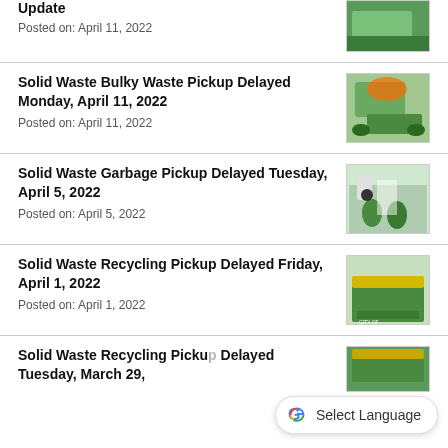Update
Posted on: April 11, 2022
[Figure (photo): Green waste truck photo (partial, top of page)]
Solid Waste Bulky Waste Pickup Delayed Monday, April 11, 2022
Posted on: April 11, 2022
[Figure (photo): Green truck lifting bulky waste]
Solid Waste Garbage Pickup Delayed Tuesday, April 5, 2022
Posted on: April 5, 2022
[Figure (photo): Worker with green garbage bins on street]
Solid Waste Recycling Pickup Delayed Friday, April 1, 2022
Posted on: April 1, 2022
[Figure (photo): Yellow recycling lid on green bin]
Solid Waste Recycling Pickup Delayed Tuesday, March 29,